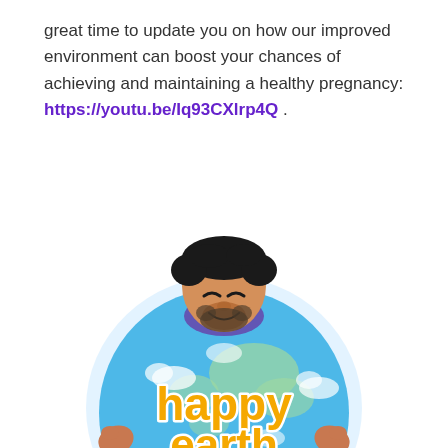great time to update you on how our improved environment can boost your chances of achieving and maintaining a healthy pregnancy: https://youtu.be/Iq93CXlrp4Q .
[Figure (illustration): Cartoon illustration of a person hugging a globe/Earth ball with 'happy earth day' written in yellow bubble letters on it. The globe is light blue with clouds and continents visible.]